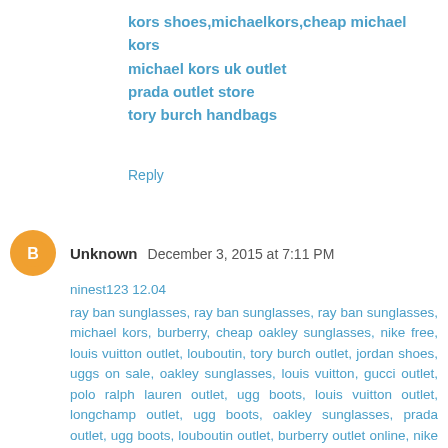kors shoes,michaelkors,cheap michael kors
michael kors uk outlet
prada outlet store
tory burch handbags
Reply
Unknown  December 3, 2015 at 7:11 PM
ninest123 12.04
ray ban sunglasses, ray ban sunglasses, ray ban sunglasses, michael kors, burberry, cheap oakley sunglasses, nike free, louis vuitton outlet, louboutin, tory burch outlet, jordan shoes, uggs on sale, oakley sunglasses, louis vuitton, gucci outlet, polo ralph lauren outlet, ugg boots, louis vuitton outlet, longchamp outlet, ugg boots, oakley sunglasses, prada outlet, ugg boots, louboutin outlet, burberry outlet online, nike outlet, michael kors outlet, nike air max, michael kors outlet, tiffany jewelry, longchamp outlet, prada handbags, replica watches, michael kors outlet, nike air max, tiffany and co, louis